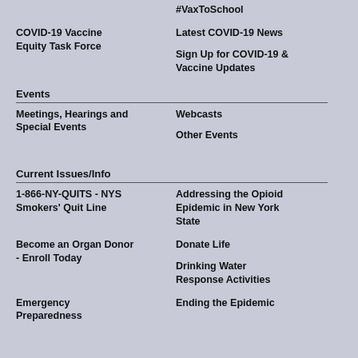#VaxToSchool
COVID-19 Vaccine Equity Task Force
Latest COVID-19 News
Sign Up for COVID-19 & Vaccine Updates
Events
Meetings, Hearings and Special Events
Webcasts
Other Events
Current Issues/Info
1-866-NY-QUITS - NYS Smokers' Quit Line
Addressing the Opioid Epidemic in New York State
Become an Organ Donor - Enroll Today
Donate Life
Drinking Water Response Activities
Emergency Preparedness
Ending the Epidemic